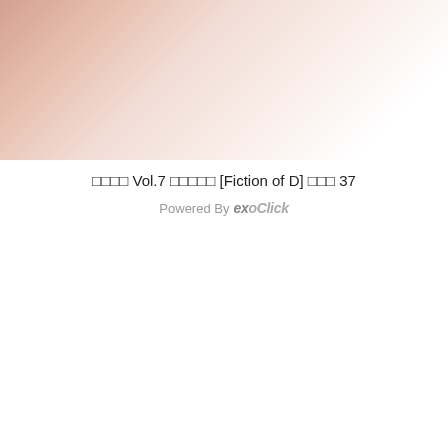[Figure (photo): Close-up photograph with light skin tones and soft pink/white background, cropped view]
□□□□ Vol.7 □□□□□ [Fiction of D] □□□ 37
Powered By exoClick
[Figure (photo): Photo of a blonde woman in a white top with tattoos, in a room with warm lighting and decorative wall paneling. A close-up button overlay is visible in the lower right.]